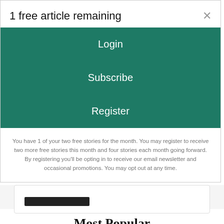1 free article remaining
[Figure (screenshot): Login button — teal green rectangular button with white text 'Login']
[Figure (screenshot): Subscribe button — teal green rectangular button with white text 'Subscribe']
[Figure (screenshot): Register button — teal green rectangular button with white text 'Register']
You have 1 of your two free stories for the month. You may register to receive two more free stories this month and four stories each month going forward. By registering you'll be opting in to receive our email newsletter and occasional promotions. You may opt out at any time.
Most Popular